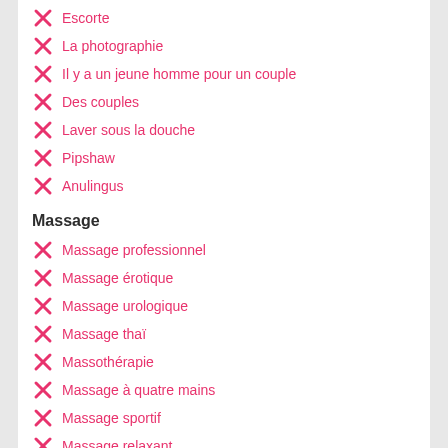Escorte
La photographie
Il y a un jeune homme pour un couple
Des couples
Laver sous la douche
Pipshaw
Anulingus
Massage
Massage professionnel
Massage érotique
Massage urologique
Massage thaï
Massothérapie
Massage à quatre mains
Massage sportif
Massage relaxant
Direction de Sakura